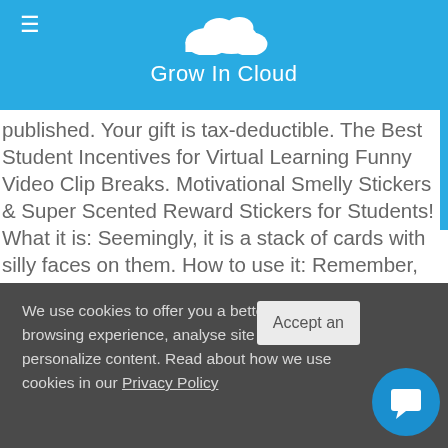Grow In Cloud
published. Your gift is tax-deductible. The Best Student Incentives for Virtual Learning Funny Video Clip Breaks. Motivational Smelly Stickers & Super Scented Reward Stickers for Students! What it is: Seemingly, it is a stack of cards with silly faces on them. How to use it: Remember, your hype is key! 20 Unexpected K-5 Classroom Incentives Your Students Will Love. (You'll need to extract the files and choose the ones you want to implement.
It would be great to know other ways to have fun and joy with kids.
We use cookies to offer you a better browsing experience, analyse site traffic and personalize content. Read about how we use cookies in our Privacy Policy